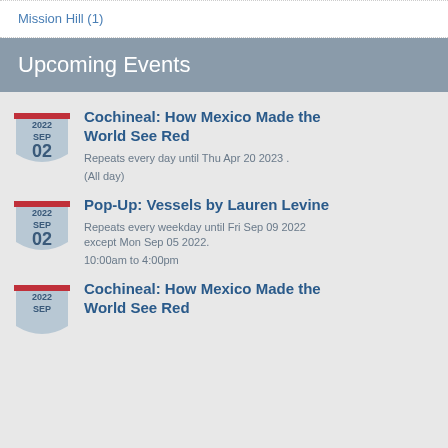Mission Hill (1)
Upcoming Events
Cochineal: How Mexico Made the World See Red
Repeats every day until Thu Apr 20 2023 .
(All day)
Pop-Up: Vessels by Lauren Levine
Repeats every weekday until Fri Sep 09 2022 except Mon Sep 05 2022.
10:00am to 4:00pm
Cochineal: How Mexico Made the World See Red